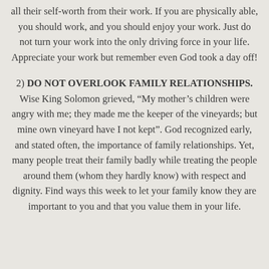all their self-worth from their work. If you are physically able, you should work, and you should enjoy your work. Just do not turn your work into the only driving force in your life. Appreciate your work but remember even God took a day off!
2) DO NOT OVERLOOK FAMILY RELATIONSHIPS. Wise King Solomon grieved, “My mother’s children were angry with me; they made me the keeper of the vineyards; but mine own vineyard have I not kept”. God recognized early, and stated often, the importance of family relationships. Yet, many people treat their family badly while treating the people around them (whom they hardly know) with respect and dignity. Find ways this week to let your family know they are important to you and that you value them in your life.